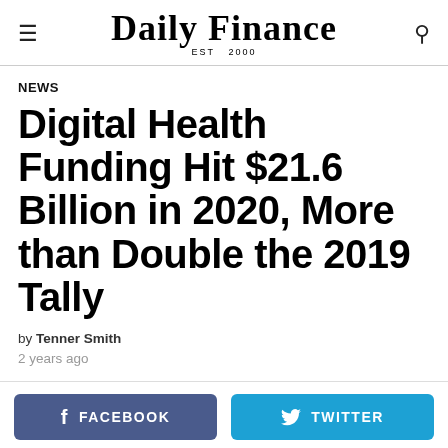Daily Finance EST 2000
NEWS
Digital Health Funding Hit $21.6 Billion in 2020, More than Double the 2019 Tally
by Tenner Smith
2 years ago
FACEBOOK   TWITTER